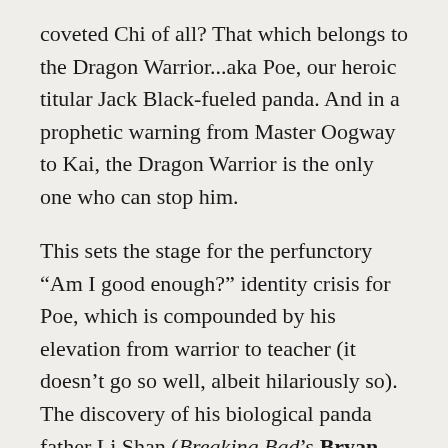coveted Chi of all? That which belongs to the Dragon Warrior...aka Poe, our heroic titular Jack Black-fueled panda. And in a prophetic warning from Master Oogway to Kai, the Dragon Warrior is the only one who can stop him.
This sets the stage for the perfunctory "Am I good enough?" identity crisis for Poe, which is compounded by his elevation from warrior to teacher (it doesn't go so well, albeit hilariously so). The discovery of his biological panda father Li Shan (Breaking Bad's Bryan Cranston) also complicates matters, bringing great joy to Poe but anxiety to his adoptive father Ping.
As Kai's onslaught grows, accumulating the Chis of kung fu masters and warriors alike (including Oogway's), Poe starts out with Li Shan teaching him at